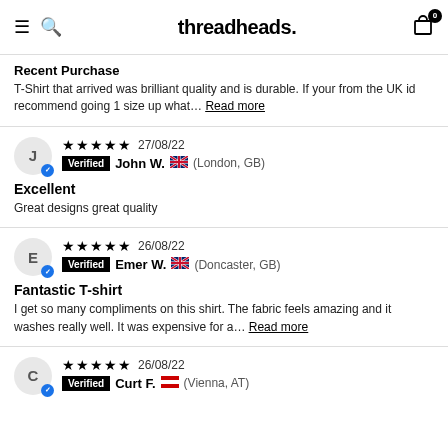threadheads.
Recent Purchase
T-Shirt that arrived was brilliant quality and is durable. If your from the UK id recommend going 1 size up what... Read more
★★★★★ 27/08/22 Verified John W. (London, GB)
Excellent
Great designs great quality
★★★★★ 26/08/22 Verified Emer W. (Doncaster, GB)
Fantastic T-shirt
I get so many compliments on this shirt. The fabric feels amazing and it washes really well. It was expensive for a... Read more
★★★★★ 26/08/22 Verified Curt F. (Vienna, AT)